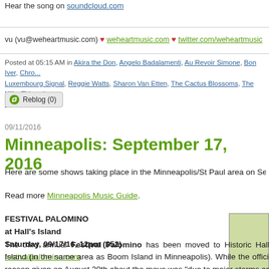Hear the song on soundcloud.com
vu (vu@weheartmusic.com) ♥ weheartmusic.com ♥ twitter.com/weheartmusic
Posted at 05:15 AM in Akira the Don, Angelo Badalamenti, Au Revoir Simone, Bon Iver, Chro... Luxembourg Signal, Reggie Watts, Sharon Van Etten, The Cactus Blossoms, The Kills, TV on the... Comments (0)
Reblog (0)
09/11/2016
Minneapolis: September 17, 2016
Here are some shows taking place in the Minneapolis/St Paul area on September 1...
Read more Minneapolis Music Guide.
FESTIVAL PALOMINO
at Hall's Island
Saturday, 09/17/16, 12pm ($52)
festivalpalomino.com
The third annual Festival Palomino has been moved to Historic Hall's Island (in the same area as Boom Island in Minneapolis). While the official reason given on August 30th about the move was "due to major storms and flooding which delayed construction at Canterbury Park", we actually think it is because of scheduling...